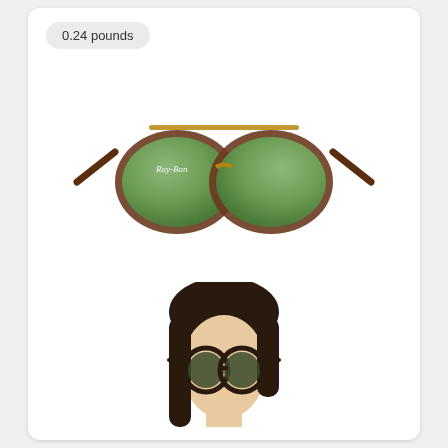0.24 pounds
[Figure (photo): Ray-Ban aviator-style sunglasses with tortoise shell frame and green gradient lenses, product shot on white background]
[Figure (photo): Woman wearing round dark-framed sunglasses, model lifestyle photo, white background]